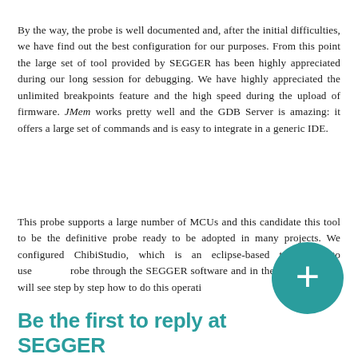By the way, the probe is well documented and, after the initial difficulties, we have find out the best configuration for our purposes. From this point the large set of tool provided by SEGGER has been highly appreciated during our long session for debugging. We have highly appreciated the unlimited breakpoints feature and the high speed during the upload of firmware. JMem works pretty well and the GDB Server is amazing: it offers a large set of commands and is easy to integrate in a generic IDE.
This probe supports a large number of MCUs and this candidate this tool to be the definitive probe ready to be adopted in many projects. We configured ChibiStudio, which is an eclipse-based toolchain, to use [probe] through the SEGGER software and in the n[ext chapter] we will see step by step how to do this operati[on].
Be the first to reply at SEGGER